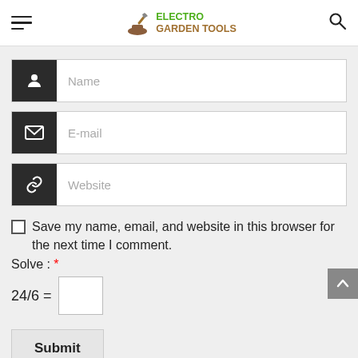ELECTRO GARDEN TOOLS
[Figure (screenshot): Web form with Name, E-mail, and Website input fields each with dark icon, a save checkbox, a math captcha (24/6 =), and a Submit button on a light grey background.]